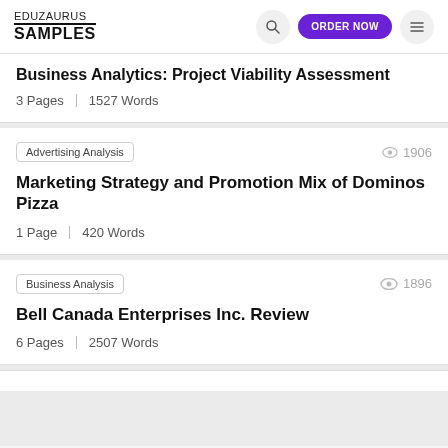EDUZAURUS SAMPLES
Business Analytics: Project Viability Assessment
3 Pages | 1527 Words
Advertising Analysis | views: 1906
Marketing Strategy and Promotion Mix of Dominos Pizza
1 Page | 420 Words
Business Analysis | views: 1896
Bell Canada Enterprises Inc. Review
6 Pages | 2507 Words